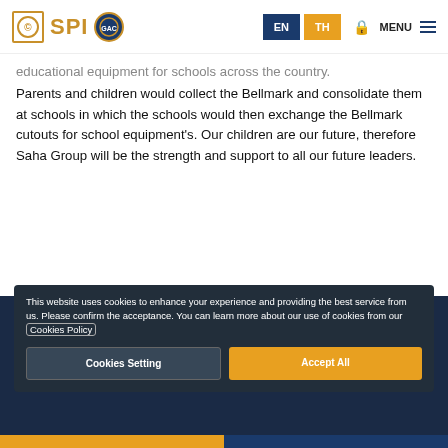SPI | EN | TH | MENU
educational equipment for schools across the country. Parents and children would collect the Bellmark and consolidate them at schools in which the schools would then exchange the Bellmark cutouts for school equipment's. Our children are our future, therefore Saha Group will be the strength and support to all our future leaders.
This website uses cookies to enhance your experience and providing the best service from us. Please confirm the acceptance. You can learn more about our use of cookies from our Cookies Policy
SITEMAP | CREDIT RATING | Cookies Setting | Accept All